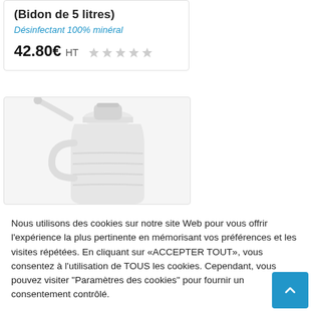(Bidon de 5 litres)
Désinfectant 100% minéral
42.80€ HT ★★★★★
[Figure (photo): White plastic bottle/container product image]
Nous utilisons des cookies sur notre site Web pour vous offrir l'expérience la plus pertinente en mémorisant vos préférences et les visites répétées. En cliquant sur «ACCEPTER TOUT», vous consentez à l'utilisation de TOUS les cookies. Cependant, vous pouvez visiter "Paramètres des cookies" pour fournir un consentement contrôlé.
Réglage des cookies
rejeter
tout accepter